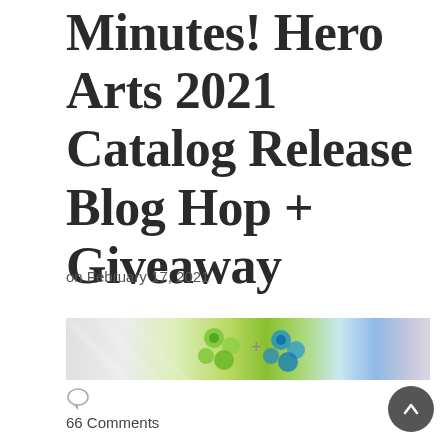Minutes! Hero Arts 2021 Catalog Release Blog Hop + Giveaway
on February 17, 2021
[Figure (photo): Partial image showing colorful butterfly/flower stencil designs in green, teal, and purple tones on a light background, likely a crafting project.]
66 Comments